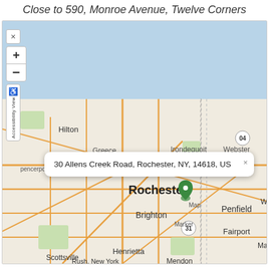Close to 590, Monroe Avenue, Twelve Corners
[Figure (map): OpenStreetMap / Google Maps style map centered on Rochester, NY area showing surrounding towns including Hilton, Greece, Irondequoit, Webster, Brighton, Penfield, Fairport, Henrietta, Scottsville, Rush, and Mendon. A map marker popup reads: '30 Allens Creek Road, Rochester, NY, 14618, US'. Map controls include zoom in (+), zoom out (-), close (x), and Accessibility View buttons.]